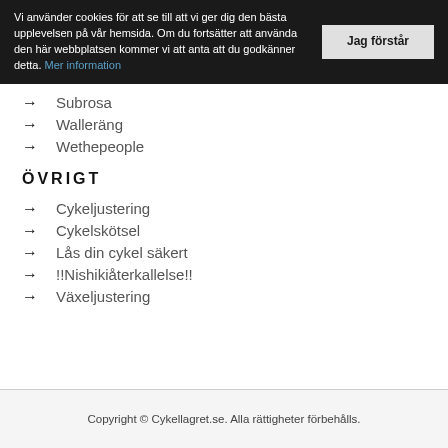Vi använder cookies för att se till att vi ger dig den bästa upplevelsen på vår hemsida. Om du fortsätter att använda den här webbplatsen kommer vi att anta att du godkänner detta. Mer information
Subrosa
Walleräng
Wethepeople
ÖVRIGT
Cykeljustering
Cykelskötsel
Lås din cykel säkert
!!Nishikiåterkallelse!!
Växeljustering
Copyright © Cykellagret.se. Alla rättigheter förbehålls.